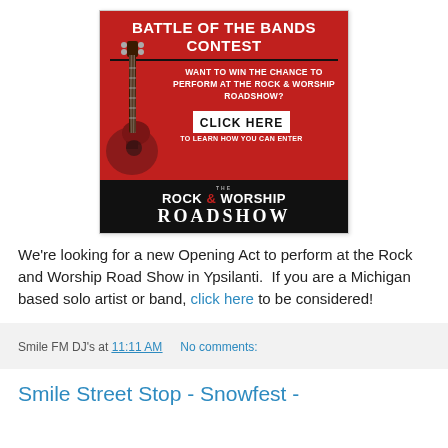[Figure (infographic): Battle of the Bands Contest banner for the Rock & Worship Roadshow. Red background with guitar image, white bold text reading 'BATTLE OF THE BANDS CONTEST', 'WANT TO WIN THE CHANCE TO PERFORM AT THE ROCK & WORSHIP ROADSHOW?', 'CLICK HERE', 'TO LEARN HOW YOU CAN ENTER'. Black bottom section with 'THE ROCK & WORSHIP ROADSHOW' text.]
We're looking for a new Opening Act to perform at the Rock and Worship Road Show in Ypsilanti.  If you are a Michigan based solo artist or band, click here to be considered!
Smile FM DJ's at 11:11 AM   No comments:
Smile Street Stop - Snowfest -